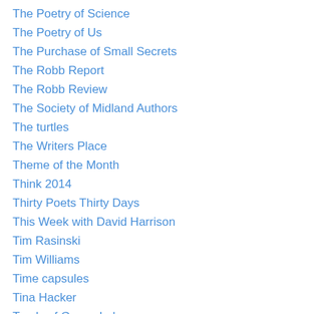The Poetry of Science
The Poetry of Us
The Purchase of Small Secrets
The Robb Report
The Robb Review
The Society of Midland Authors
The turtles
The Writers Place
Theme of the Month
Think 2014
Thirty Poets Thirty Days
This Week with David Harrison
Tim Rasinski
Tim Williams
Time capsules
Tina Hacker
Toads of Goose Lake
Todd Parnell
Tom Peters
Tom Trtan